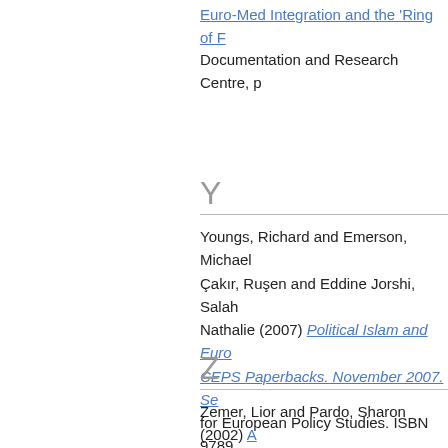Euro-Med Integration and the 'Ring of F... Documentation and Research Centre, p...
Y
Youngs, Richard and Emerson, Michael... Çakır, Ruşen and Eddine Jorshi, Salah... Nathalie (2007) Political Islam and Euro... CEPS Paperbacks. November 2007. Se... for European Policy Studies. ISBN 9789...
Youngs, Richard. (2002) The European... Working Paper No. 2, November 2002.
Z
Zemer, Lior and Pardo, Sharon (2002) A...